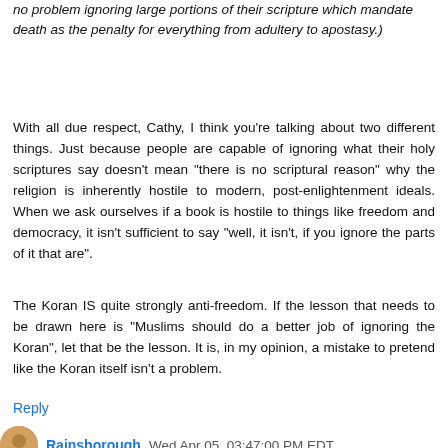no problem ignoring large portions of their scripture which mandate death as the penalty for everything from adultery to apostasy.)
With all due respect, Cathy, I think you're talking about two different things. Just because people are capable of ignoring what their holy scriptures say doesn't mean "there is no scriptural reason" why the religion is inherently hostile to modern, post-enlightenment ideals. When we ask ourselves if a book is hostile to things like freedom and democracy, it isn't sufficient to say "well, it isn't, if you ignore the parts of it that are".
The Koran IS quite strongly anti-freedom. If the lesson that needs to be drawn here is "Muslims should do a better job of ignoring the Koran", let that be the lesson. It is, in my opinion, a mistake to pretend like the Koran itself isn't a problem.
Reply
Rainsborough  Wed Apr 05, 03:47:00 PM EDT